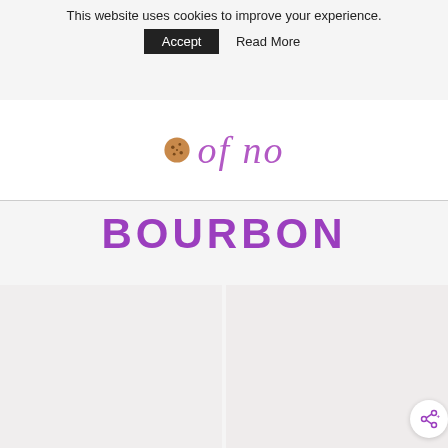This website uses cookies to improve your experience. Accept  Read More
[Figure (logo): Cookie icon with purple script text logo for a food/recipe website]
BOURBON
[Figure (photo): Two side-by-side light-colored food/recipe photos (bourbon-related), with a share button overlay on the right image]